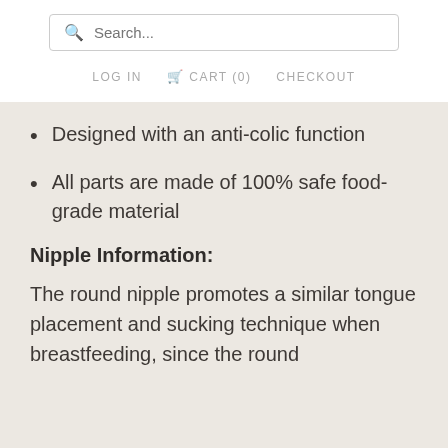Search... | LOG IN | CART (0) | CHECKOUT
Designed with an anti-colic function
All parts are made of 100% safe food-grade material
Nipple Information:
The round nipple promotes a similar tongue placement and sucking technique when breastfeeding, since the round